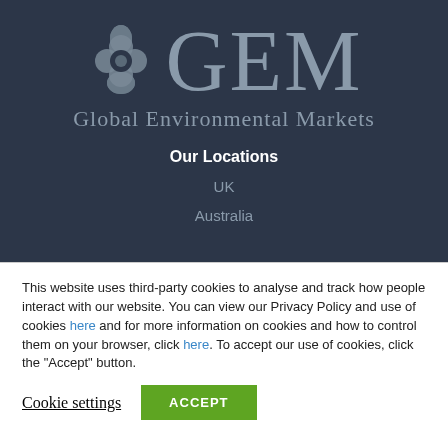[Figure (logo): GEM Global Environmental Markets logo with decorative icon on dark navy background, showing large GEM letters in grey and 'Global Environmental Markets' text below]
Our Locations
UK
Australia
This website uses third-party cookies to analyse and track how people interact with our website. You can view our Privacy Policy and use of cookies here and for more information on cookies and how to control them on your browser, click here. To accept our use of cookies, click the "Accept" button.
Cookie settings
ACCEPT